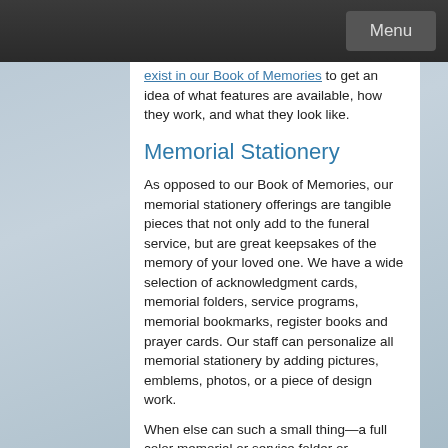Menu
exist in our Book of Memories to get an idea of what features are available, how they work, and what they look like.
Memorial Stationery
As opposed to our Book of Memories, our memorial stationery offerings are tangible pieces that not only add to the funeral service, but are great keepsakes of the memory of your loved one. We have a wide selection of acknowledgment cards, memorial folders, service programs, memorial bookmarks, register books and prayer cards. Our staff can personalize all memorial stationery by adding pictures, emblems, photos, or a piece of design work.
When else can such a small thing—a full color memorial or service folder or personalized prayer card—mean so much? After all, you are giving your funeral guests a tangible way to hold their memories of your loved one close. Memorial stationery can be